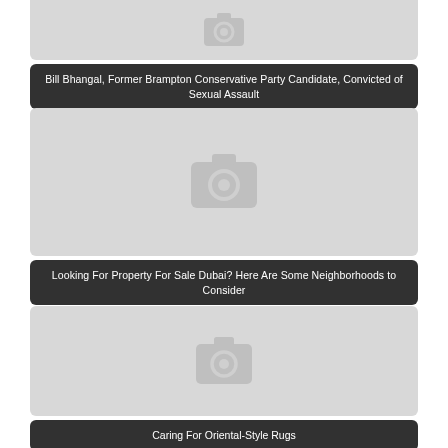[Figure (photo): Placeholder image with camera icon (top, partially cropped)]
Bill Bhangal, Former Brampton Conservative Party Candidate, Convicted of Sexual Assault
[Figure (photo): Placeholder image with camera icon]
Looking For Property For Sale Dubai? Here Are Some Neighborhoods to Consider
[Figure (photo): Placeholder image with camera icon]
Caring For Oriental-Style Rugs
[Figure (photo): Placeholder image with camera icon (bottom, partially cropped)]